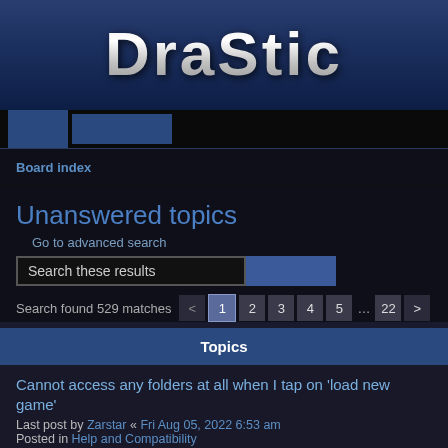[Figure (logo): DraStic logo in metallic silver/chrome text on dark blue background]
Board index
Unanswered topics
Go to advanced search
Search these results
Search found 529 matches
Topics
Cannot access any folders at all when I tap on 'load new game'
Last post by Zarstar « Fri Aug 05, 2022 6:53 am
Posted in Help and Compatibility
DPAD Right input not detected Retroid Pocket 2+
Last post by Drumstick « Thu Jun 02, 2022 4:42 pm